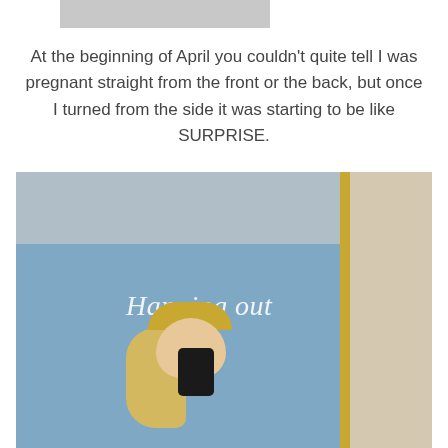[Figure (photo): Partial top photo, cropped, showing a gray/light surface - top portion only visible]
At the beginning of April you couldn't quite tell I was pregnant straight from the front or the back, but once I turned from the side it was starting to be like SURPRISE.
[Figure (photo): Mirror selfie photo in a bathroom or bedroom. The room has light blue walls, a beige/cream panel on the right side with a gold mirror frame strip. Text overlay reads 'Hanging out' in white serif italic font. A blonde woman is visible at the bottom of the frame taking the photo with a dark smartphone.]